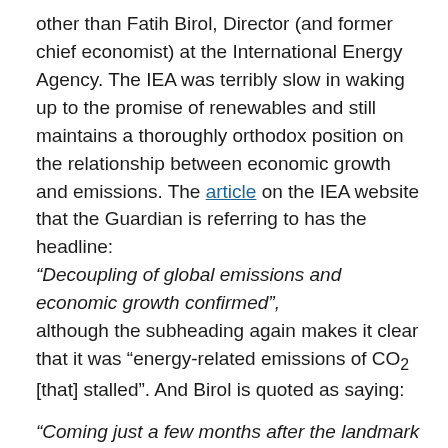other than Fatih Birol, Director (and former chief economist) at the International Energy Agency. The IEA was terribly slow in waking up to the promise of renewables and still maintains a thoroughly orthodox position on the relationship between economic growth and emissions. The article on the IEA website that the Guardian is referring to has the headline:
“Decoupling of global emissions and economic growth confirmed”,
although the subheading again makes it clear that it was “energy-related emissions of CO₂ [that] stalled”. And Birol is quoted as saying:
“Coming just a few months after the landmark COP21 agreement in Paris, this is yet another boost to the global fight against climate change.”